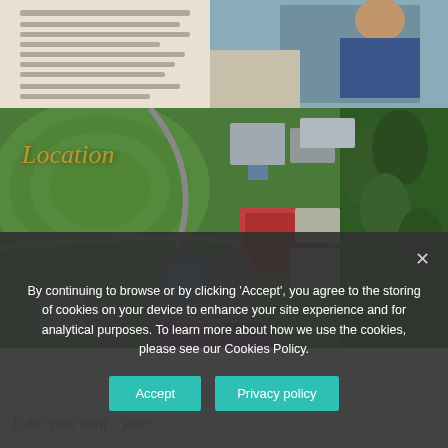[Figure (photo): Top partial photo showing people and a book/document, cropped at top of page]
[Figure (photo): Aerial drone photo of a school/university campus with buildings, sports courts, green fields and woodland. The word 'Location' is overlaid in gold italic text on the upper left.]
Location
By continuing to browse or by clicking ‘Accept’, you agree to the storing of cookies on your device to enhance your site experience and for analytical purposes. To learn more about how we use the cookies, please see our Cookies Policy.
Accept
Privacy policy
Enter your cont... four